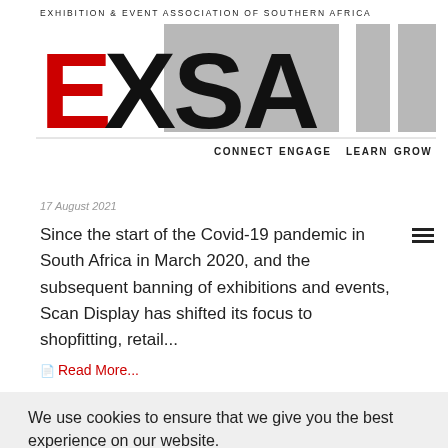EXHIBITION & EVENT ASSOCIATION OF SOUTHERN AFRICA
[Figure (logo): EXSA logo with red E and black XSA letters, gray decorative squares, EST 1980 text rotated, and navigation words CONNECT ENGAGE LEARN GROW]
17 August 2021
Since the start of the Covid-19 pandemic in South Africa in March 2020, and the subsequent banning of exhibitions and events, Scan Display has shifted its focus to shopfitting, retail...
Read More...
We use cookies to ensure that we give you the best experience on our website.
I accept